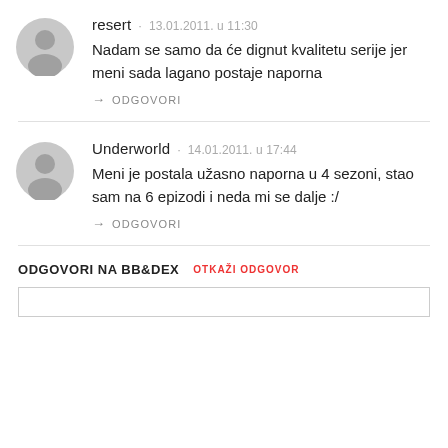resert · 13.01.2011. u 11:30
Nadam se samo da će dignut kvalitetu serije jer meni sada lagano postaje naporna
→ ODGOVORI
Underworld · 14.01.2011. u 17:44
Meni je postala užasno naporna u 4 sezoni, stao sam na 6 epizodi i neda mi se dalje :/
→ ODGOVORI
ODGOVORI NA BB&DEX
OTKAŽI ODGOVOR